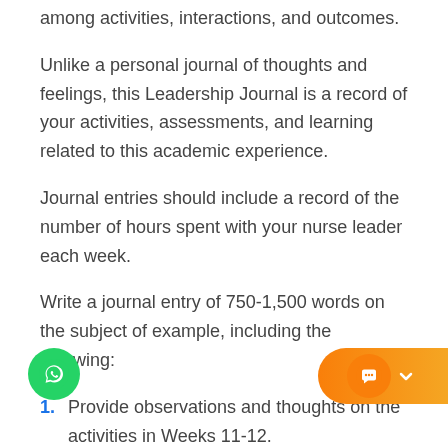among activities, interactions, and outcomes.
Unlike a personal journal of thoughts and feelings, this Leadership Journal is a record of your activities, assessments, and learning related to this academic experience.
Journal entries should include a record of the number of hours spent with your nurse leader each week.
Write a journal entry of 750-1,500 words on the subject of example, including the following:
Provide observations and thoughts on the activities in Weeks 11-12.
Identify three to five personal values or